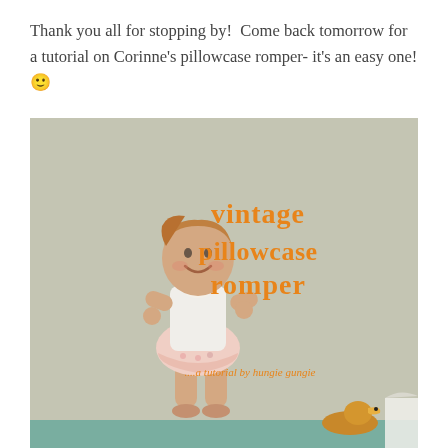Thank you all for stopping by!  Come back tomorrow for a tutorial on Corinne's pillowcase romper- it's an easy one! 🙂
[Figure (photo): A toddler girl wearing a vintage pillowcase romper (white bodice with pink floral bubble shorts), standing and smiling. Text overlay reads 'vintage pillowcase romper ...a tutorial by hungie gungie' in orange. A wooden duck toy is visible at the bottom.]